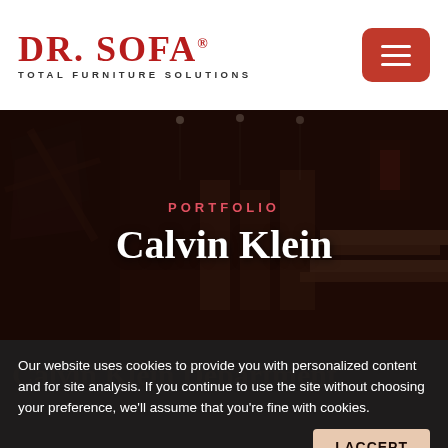[Figure (logo): DR. SOFA logo with registered trademark and tagline TOTAL FURNITURE SOLUTIONS]
[Figure (screenshot): Red hamburger menu button]
PORTFOLIO
Calvin Klein
[Figure (photo): Dark interior of a Calvin Klein department store showroom]
Calvin Klein Department
Our website uses cookies to provide you with personalized content and for site analysis. If you continue to use the site without choosing your preference, we'll assume that you're fine with cookies.
I ACCEPT